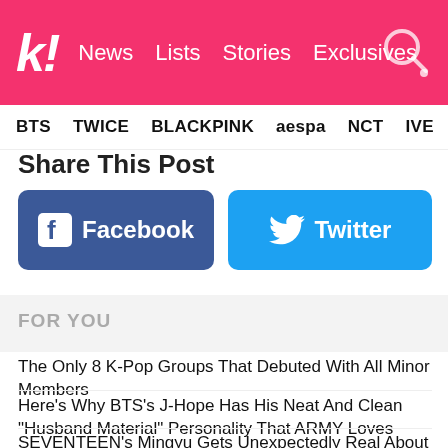k! News Lists Stories Exclusives
BTS TWICE BLACKPINK aespa NCT IVE SHIN
Share This Post
[Figure (other): Facebook share button (blue rounded rectangle with Facebook logo and text 'Facebook')]
[Figure (other): Twitter share button (light blue rounded rectangle with Twitter bird logo and text 'Twitter')]
FOR YOU
The Only 8 K-Pop Groups That Debuted With All Minor Members
Here's Why BTS's J-Hope Has His Neat And Clean "Husband Material" Personality That ARMY Loves
SEVENTEEN's Mingyu Gets Unexpectedly Real About